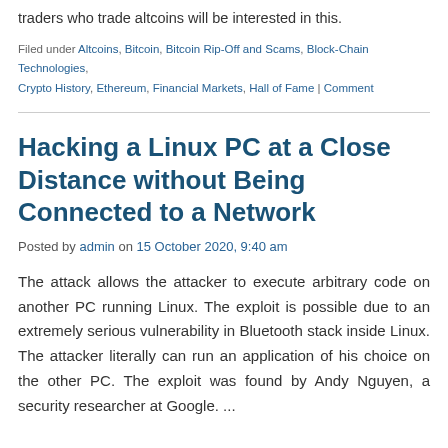traders who trade altcoins will be interested in this.
Filed under Altcoins, Bitcoin, Bitcoin Rip-Off and Scams, Block-Chain Technologies, Crypto History, Ethereum, Financial Markets, Hall of Fame | Comment
Hacking a Linux PC at a Close Distance without Being Connected to a Network
Posted by admin on 15 October 2020, 9:40 am
The attack allows the attacker to execute arbitrary code on another PC running Linux. The exploit is possible due to an extremely serious vulnerability in Bluetooth stack inside Linux. The attacker literally can run an application of his choice on the other PC. The exploit was found by Andy Nguyen, a security researcher at Google. ...